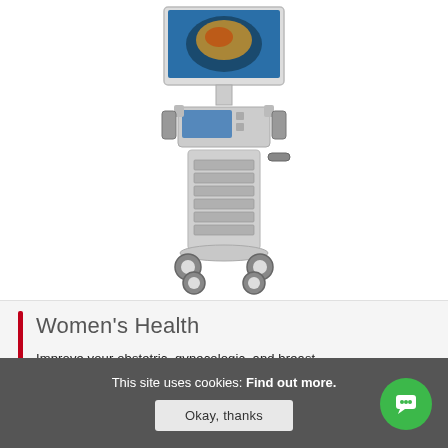[Figure (photo): Ultrasound machine on wheels with monitor showing ultrasound image, control panel, and tower unit with multiple drive bays]
Women's Health
Improve your obstetric, gynecologic, and breast imaging abilities with our advanced...
This site uses cookies: Find out more.
Okay, thanks